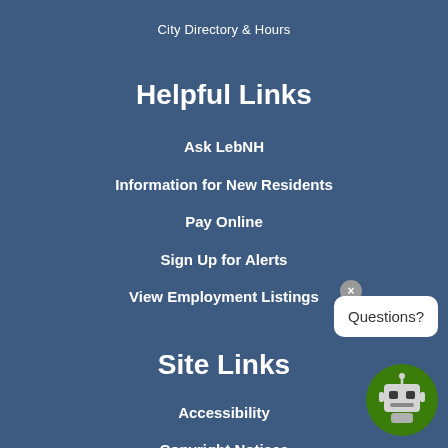City Directory & Hours
Helpful Links
Ask LebNH
Information for New Residents
Pay Online
Sign Up for Alerts
View Employment Listings
Site Links
Accessibility
Copyright Notices
Privacy Policy
Social Media Policy
[Figure (illustration): Chat robot widget with 'Questions?' speech bubble and a close button, showing a green robot icon in the bottom-right corner]